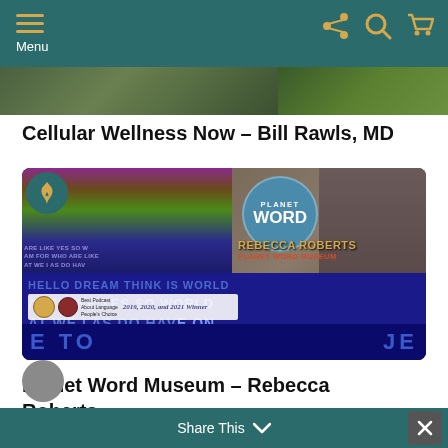Menu
[Figure (screenshot): Banner image with outdoor scene, greenery and car]
Cellular Wellness Now – Bill Rawls, MD
[Figure (screenshot): Video thumbnail for Planet Word Museum – Rebecca Roberts event. Shows colorful word wall background, Planet Word circular blue badge, Rebecca Roberts name label in gold with Planet Word Museum subtitle in red, and a woman seated on stage. Bottom half shows blue word wall with large text.]
Planet Word Museum – Rebecca Roberts
Share This